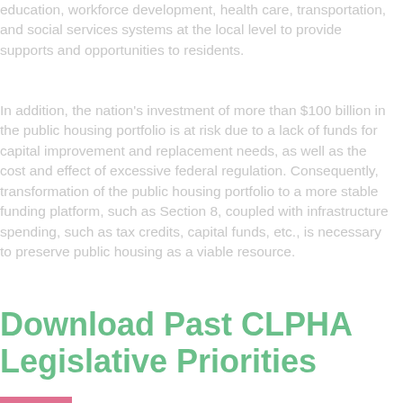education, workforce development, health care, transportation, and social services systems at the local level to provide supports and opportunities to residents.
In addition, the nation's investment of more than $100 billion in the public housing portfolio is at risk due to a lack of funds for capital improvement and replacement needs, as well as the cost and effect of excessive federal regulation. Consequently, transformation of the public housing portfolio to a more stable funding platform, such as Section 8, coupled with infrastructure spending, such as tax credits, capital funds, etc., is necessary to preserve public housing as a viable resource.
Download Past CLPHA Legislative Priorities